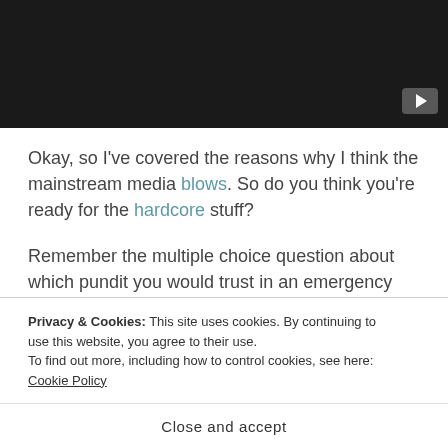[Figure (screenshot): Dark video thumbnail with YouTube play button in bottom-right corner]
Okay, so I've covered the reasons why I think the mainstream media blows. So do you think you're ready for the hardcore stuff?
Remember the multiple choice question about which pundit you would trust in an emergency situation? Never
Privacy & Cookies: This site uses cookies. By continuing to use this website, you agree to their use.
To find out more, including how to control cookies, see here: Cookie Policy
Close and accept